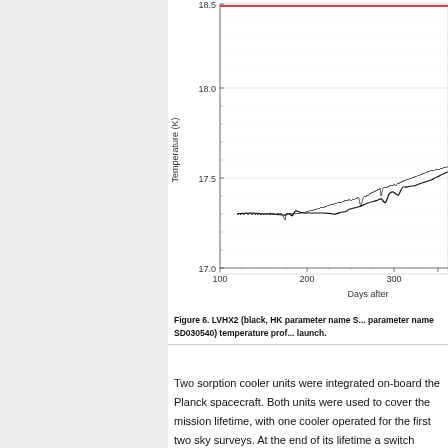[Figure (continuous-plot): Continuous line plot showing LVHX2 temperature (K) vs Days after launch. X-axis from ~100 to beyond 300, Y-axis from 17.0 to 18.5. The curve starts at ~17.3 K around day 120, stays nearly flat until ~day 200, then rises to ~17.7 K by day 300 and continues rising. A red horizontal line is visible at the top. Some noise/spikes visible around day 200 and day 300.]
Figure 6. LVHX2 (black, HK parameter name S... parameter name SD030540) temperature prof... launch.
Two sorption cooler units were integrated on-board the Planck spacecraft. Both units were used to cover the mission lifetime, with one cooler operated for the first two sky surveys. At the end of its lifetime a switch operation from...